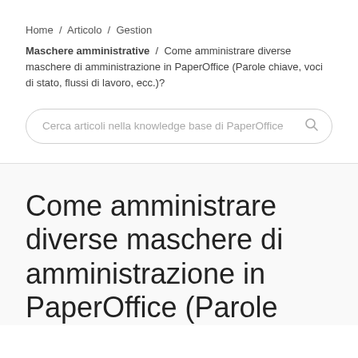Home / Articolo / Gestion
Maschere amministrative / Come amministrare diverse maschere di amministrazione in PaperOffice (Parole chiave, voci di stato, flussi di lavoro, ecc.)?
Cerca articoli nella knowledge base di PaperOffice
Come amministrare diverse maschere di amministrazione in PaperOffice (Parole chiave,